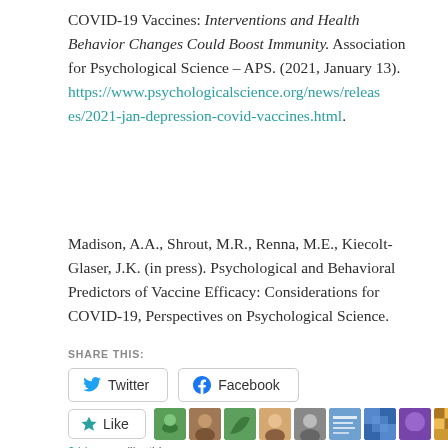COVID-19 Vaccines: Interventions and Health Behavior Changes Could Boost Immunity. Association for Psychological Science – APS. (2021, January 13). https://www.psychologicalscience.org/news/releases/2021-jan-depression-covid-vaccines.html.
Madison, A.A., Shrout, M.R., Renna, M.E., Kiecolt-Glaser, J.K. (in press). Psychological and Behavioral Predictors of Vaccine Efficacy: Considerations for COVID-19, Perspectives on Psychological Science.
SHARE THIS:
Twitter  Facebook
Like
9 bloggers like this.